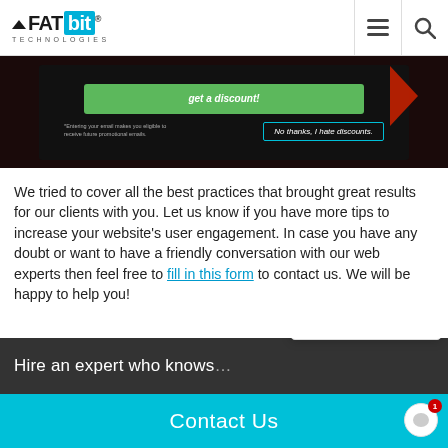FATbit TECHNOLOGIES
[Figure (screenshot): Screenshot of a popup overlay showing a green call-to-action bar and a 'No thanks, I hate discounts.' button with a red arrow, on a dark background.]
We tried to cover all the best practices that brought great results for our clients with you. Let us know if you have more tips to increase your website's user engagement. In case you have any doubt or want to have a friendly conversation with our web experts then feel free to fill in this form to contact us. We will be happy to help you!
[Figure (screenshot): Dark banner starting with text 'Hire an expert who knows...' cut off at right edge, with a chat support popup overlay showing 'Hi, Have a query? Speak to our Business Consultants!' and FATbit Support agent avatar with 'just now' timestamp.]
Contact Us